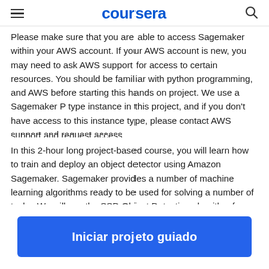coursera
Please make sure that you are able to access Sagemaker within your AWS account. If your AWS account is new, you may need to ask AWS support for access to certain resources. You should be familiar with python programming, and AWS before starting this hands on project. We use a Sagemaker P type instance in this project, and if you don't have access to this instance type, please contact AWS support and request access.
In this 2-hour long project-based course, you will learn how to train and deploy an object detector using Amazon Sagemaker. Sagemaker provides a number of machine learning algorithms ready to be used for solving a number of tasks. We will use the SSD Object Detection algorithm from Sagemaker to create, trai
Iniciar projeto guiado